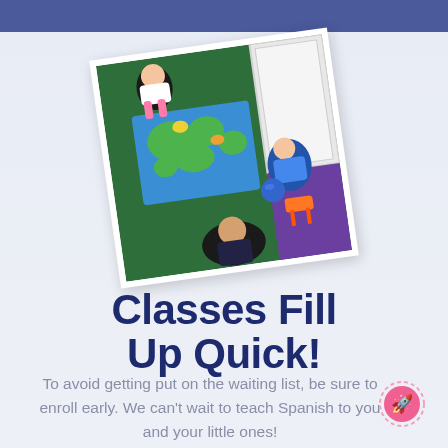[Figure (photo): Aerial/top-down view of children lying on a green carpet looking at a colorful world map puzzle/poster, with a door and purple wall visible in the background.]
Classes Fill Up Quick!
To avoid getting put on the waiting list, be sure to enroll early. We can't wait to teach Spanish to you and your little ones!